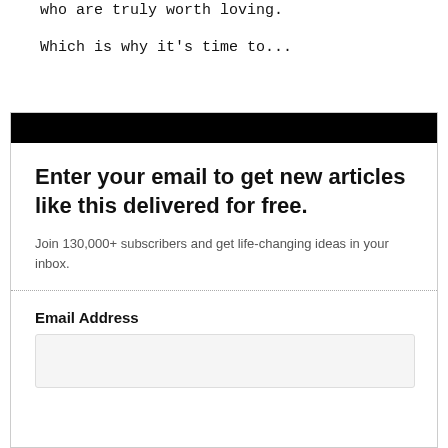who are truly worth loving.
Which is why it's time to...
Enter your email to get new articles like this delivered for free.
Join 130,000+ subscribers and get life-changing ideas in your inbox.
Email Address